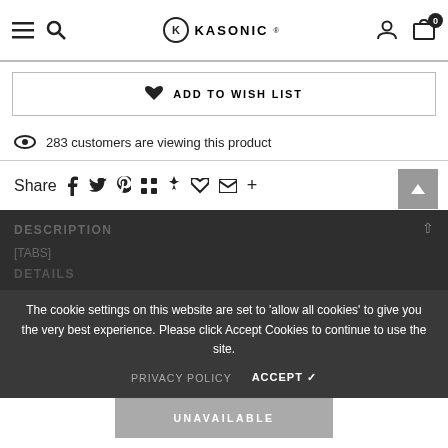KASONIC — navigation header with menu, search, logo, account, cart (0)
♥ ADD TO WISH LIST
283 customers are viewing this product
Share  f  t  p  ⊞  ♦  ♡  ✉  +
The cookie settings on this website are set to 'allow all cookies' to give you the very best experience. Please click Accept Cookies to continue to use the site.
PRIVACY POLICY   ACCEPT ✓
DESCRIPTION
[TABS]
DETAILS
UNAVAILABLE